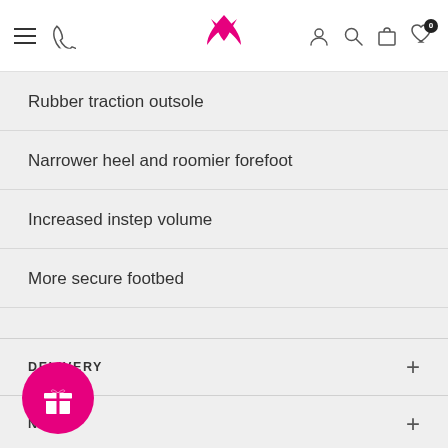Navigation header with logo, menu, phone, user, search, cart, wishlist icons
Rubber traction outsole
Narrower heel and roomier forefoot
Increased instep volume
More secure footbed
DELIVERY
NS